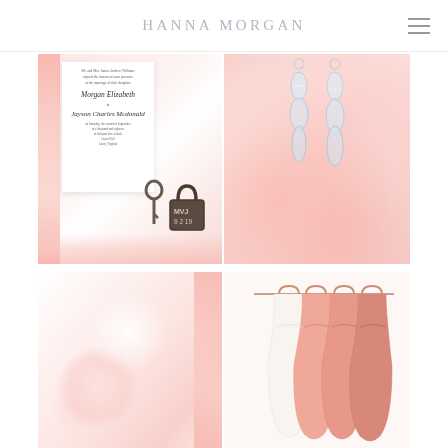HANNA MORGAN
[Figure (photo): Wedding flat lay photo showing a formal wedding invitation card with calligraphy script names, a vintage padlock engraved with 'MVJ 9 2 19', an antique key, and pink ribbon/silk fabric on a white background.]
[Figure (photo): Close-up photo of dangling crystal/pearl earrings resting on pink rose petals and pink fabric.]
[Figure (photo): Soft blurred photo of pink floral arrangement and pink fabric/ribbon in a bright white environment.]
[Figure (photo): Photo of four pink bridesmaid dresses hanging on rose gold hangers against a white wall.]